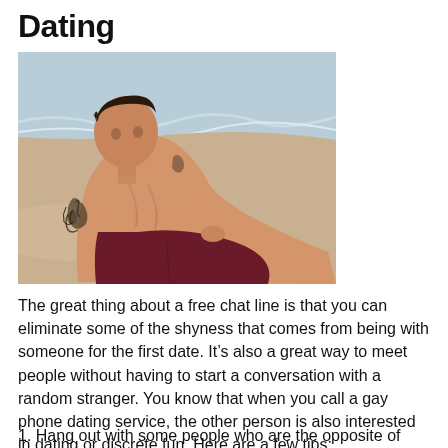Dating
[Figure (photo): A shirtless young man with tattoos on his arm and chest, reclining on a beach with the ocean in the background. He is wearing dark red/maroon swim shorts.]
The great thing about a free chat line is that you can eliminate some of the shyness that comes from being with someone for the first date. It’s also a great way to meet people without having to start a conversation with a random stranger. You know that when you call a gay phone dating service, the other person is also interested in dating or discrete fun. Here are a few tips:
1. Hang out with some people who are the opposite of